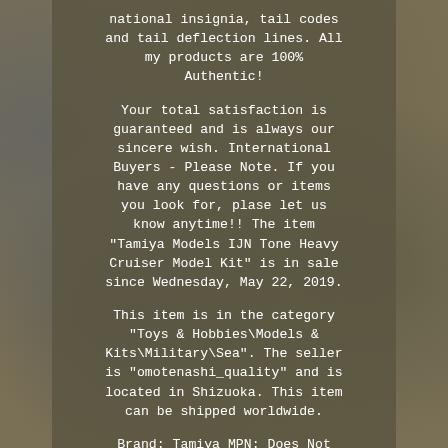national insignia, tail codes and tail deflection lines. All my products are 100% Authentic!

Your total satisfaction is guaranteed and is always our sincere wish. International Buyers - Please Note. If you have any questions or items you look for, plase let us know anytime!! The item "Tamiya Models IJN Tone Heavy Cruiser Model Kit" is in sale since Wednesday, May 22, 2019.

This item is in the category "Toys & Hobbies\Models & Kits\Military\Sea". The seller is "omotenashi_quality" and is located in Shizuoka. This item can be shipped worldwide.

Brand: Tamiya MPN: Does Not Apply